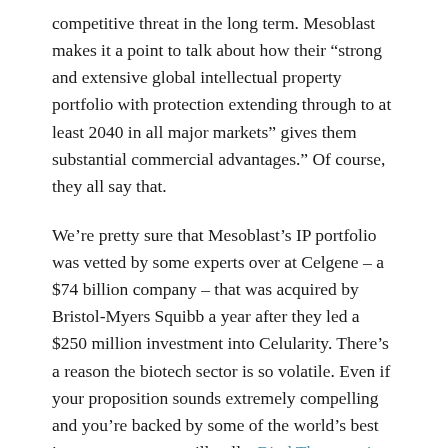competitive threat in the long term. Mesoblast makes it a point to talk about how their “strong and extensive global intellectual property portfolio with protection extending through to at least 2040 in all major markets” gives them substantial commercial advantages.” Of course, they all say that.
We’re pretty sure that Mesoblast’s IP portfolio was vetted by some experts over at Celgene – a $74 billion company – that was acquired by Bristol-Myers Squibb a year after they led a $250 million investment into Celularity. There’s a reason the biotech sector is so volatile. Even if your proposition sounds extremely compelling and you’re backed by some of the world’s best investors, you can still pull a Bind Therapeutics or an Elizabeth Holmes.
Conclusion